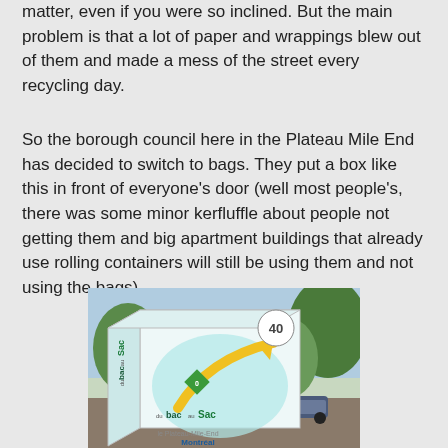matter, even if you were so inclined. But the main problem is that a lot of paper and wrappings blew out of them and made a mess of the street every recycling day.
So the borough council here in the Plateau Mile End has decided to switch to bags. They put a box like this in front of everyone's door (well most people's, there was some minor kerfluffle about people not getting them and big apartment buildings that already use rolling containers will still be using them and not using the bags).
[Figure (photo): A cardboard box labeled 'du bac au sac' with the Plateau-Mile-End Montreal branding, containing 40 recycling bags. The box is placed outside on what appears to be a porch/street, with trees and a car visible in the background.]